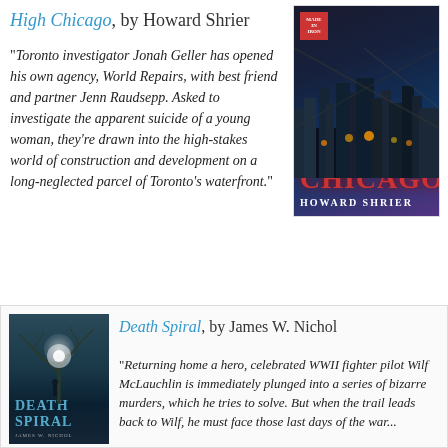High Chicago, by Howard Shrier
[Figure (photo): Book cover of 'High Chicago' by Howard Shrier showing a nighttime city skyline with lights and a person on a high structure above.]
"Toronto investigator Jonah Geller has opened his own agency, World Repairs, with best friend and partner Jenn Raudsepp. Asked to investigate the apparent suicide of a young woman, they're drawn into the high-stakes world of construction and development on a long-neglected parcel of Toronto's waterfront."
[Figure (photo): Book cover of 'Death Spiral' by James W. Nichol showing a dark atmospheric scene with bare tree branches and a lone figure silhouetted against a glowing light.]
Death Spiral, by James W. Nichol
"Returning home a hero, celebrated WWII fighter pilot Wilf McLauchlin is immediately plunged into a series of bizarre murders, which he tries to solve. But when the trail leads back to Wilf, he must face those last days of the war..."